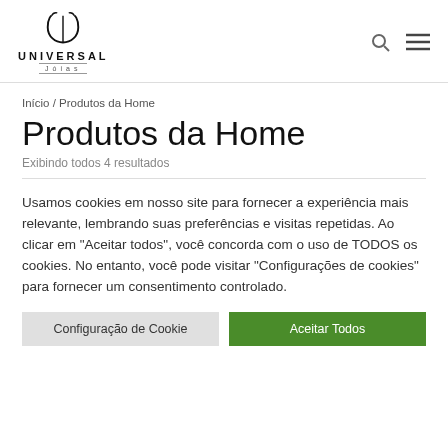[Figure (logo): Universal Jóias logo with stylized U/J monogram above the text UNIVERSAL and JÓIAS]
Início / Produtos da Home
Produtos da Home
Exibindo todos 4 resultados
Usamos cookies em nosso site para fornecer a experiência mais relevante, lembrando suas preferências e visitas repetidas. Ao clicar em "Aceitar todos", você concorda com o uso de TODOS os cookies. No entanto, você pode visitar "Configurações de cookies" para fornecer um consentimento controlado.
Configuração de Cookie
Aceitar Todos